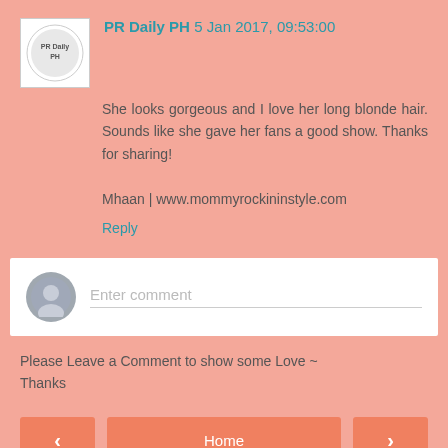PR Daily PH 5 Jan 2017, 09:53:00
She looks gorgeous and I love her long blonde hair. Sounds like she gave her fans a good show. Thanks for sharing!

Mhaan | www.mommyrockininstyle.com
Reply
[Figure (other): Comment input box with user avatar icon and placeholder text 'Enter comment']
Please Leave a Comment to show some Love ~ Thanks
< Home >
View web version
Powered by Blogger